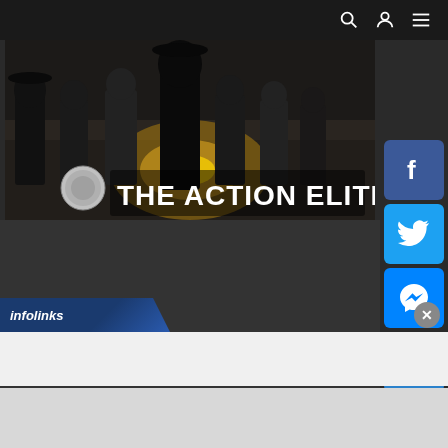[Figure (screenshot): The Action Elite website header banner showing movie characters with the site logo and title 'THE ACTION ELITE' overlaid on a dark action movie collage]
[Figure (logo): Facebook social share button (blue square with white 'f')]
[Figure (logo): Twitter social share button (blue square with white bird)]
[Figure (logo): Facebook Messenger social share button (blue square with white messenger icon)]
[Figure (logo): Plus/share button (blue square with white plus sign)]
All movie titles, pictures, etc... are registered trademarks and/or copyrights of their respective holders and used under "Fair Use".
[Figure (other): Infolinks advertisement bar at the bottom of the page with close button]